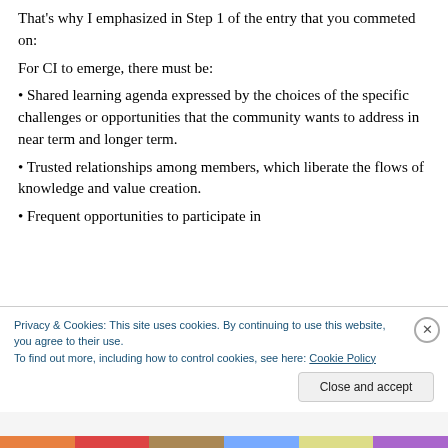That's why I emphasized in Step 1 of the entry that you commeted on:
For CI to emerge, there must be:
• Shared learning agenda expressed by the choices of the specific challenges or opportunities that the community wants to address in near term and longer term.
• Trusted relationships among members, which liberate the flows of knowledge and value creation.
• Frequent opportunities to participate in
Privacy & Cookies: This site uses cookies. By continuing to use this website, you agree to their use.
To find out more, including how to control cookies, see here: Cookie Policy
Close and accept